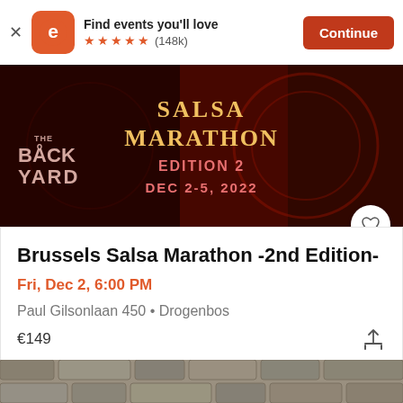[Figure (screenshot): Eventbrite app banner with logo, 'Find events you'll love', 5 stars (148k reviews), and Continue button]
[Figure (photo): Brussels Salsa Marathon 2nd Edition event banner image with dark red background and decorative text: SALSA MARATHON EDITION 2 DEC 2-5, 2022, THE BACK YARD]
Brussels Salsa Marathon -2nd Edition-
Fri, Dec 2, 6:00 PM
Paul Gilsonlaan 450 • Drogenbos
€149
[Figure (photo): Cobblestone street pavement photo at the bottom of the page]